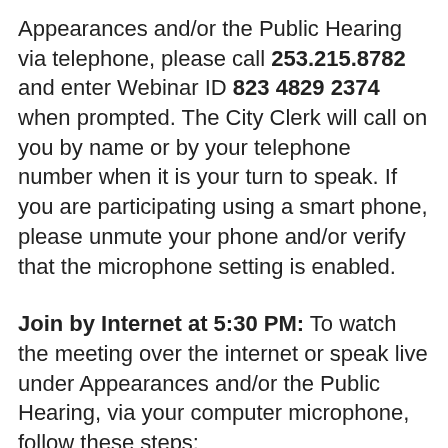Appearances and/or the Public Hearing via telephone, please call 253.215.8782 and enter Webinar ID 823 4829 2374 when prompted. The City Clerk will call on you by name or by your telephone number when it is your turn to speak. If you are participating using a smart phone, please unmute your phone and/or verify that the microphone setting is enabled.
Join by Internet at 5:30 PM: To watch the meeting over the internet or speak live under Appearances and/or the Public Hearing, via your computer microphone, follow these steps:
1) Click this link
2) If the Zoom app is not installed on your computer, you will be prompted to download it.
3) If prompted for Webinar ID, enter 823